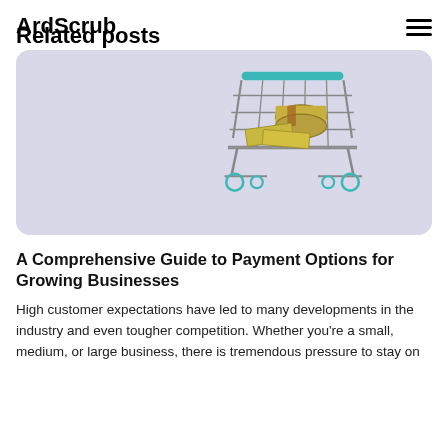ArdScrubosts / Related posts
[Figure (photo): A small miniature shopping cart containing rolled dollar bills, photographed against a light purple/lavender background.]
A Comprehensive Guide to Payment Options for Growing Businesses
High customer expectations have led to many developments in the industry and even tougher competition. Whether you're a small, medium, or large business, there is tremendous pressure to stay on